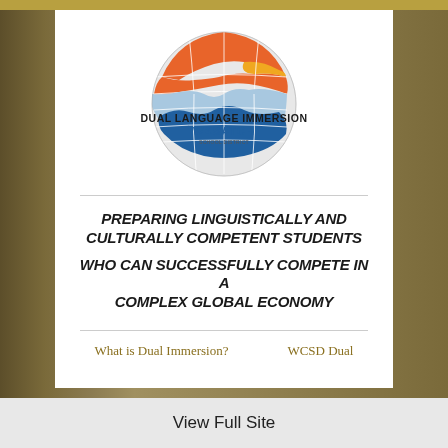[Figure (logo): Dual Language Immersion Wasatch School District logo — globe with orange, yellow, light blue and dark blue sections, with text 'DUAL LANGUAGE IMMERSION WASATCH' and subtitle text beneath]
PREPARING LINGUISTICALLY AND CULTURALLY COMPETENT STUDENTS WHO CAN SUCCESSFULLY COMPETE IN A COMPLEX GLOBAL ECONOMY
What is Dual Immersion?
WCSD Dual
View Full Site